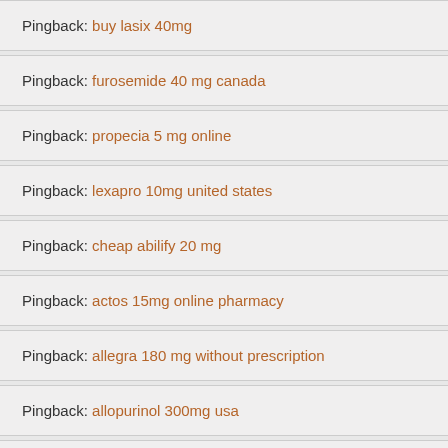Pingback: buy lasix 40mg
Pingback: furosemide 40 mg canada
Pingback: propecia 5 mg online
Pingback: lexapro 10mg united states
Pingback: cheap abilify 20 mg
Pingback: actos 15mg online pharmacy
Pingback: allegra 180 mg without prescription
Pingback: allopurinol 300mg usa
Pingback: amaryl 2mg uk
Pingback: amoxicillin 500 mg no prescription
Pingback: antabuse 250 mg without a doctor prescription